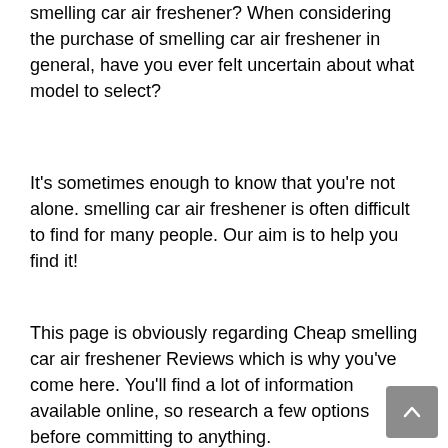smelling car air freshener? When considering the purchase of smelling car air freshener in general, have you ever felt uncertain about what model to select?
It’s sometimes enough to know that you’re not alone. smelling car air freshener is often difficult to find for many people. Our aim is to help you find it!
This page is obviously regarding Cheap smelling car air freshener Reviews which is why you’ve come here. You’ll find a lot of information available online, so research a few options before committing to anything.